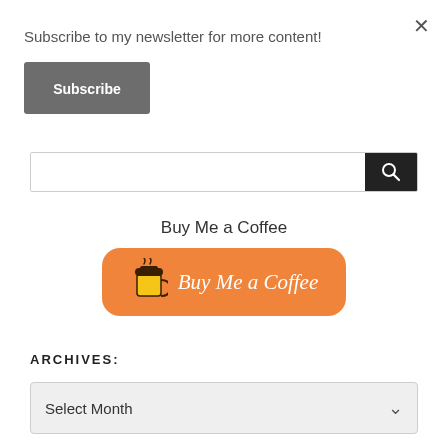Subscribe to my newsletter for more content!
[Figure (screenshot): Subscribe button (dark gray rounded rectangle with white bold text 'Subscribe')]
[Figure (screenshot): Search bar with white input field and dark button on right]
Buy Me a Coffee
[Figure (screenshot): Orange rounded button with coffee cup icon and cursive white text 'Buy Me a Coffee']
ARCHIVES:
[Figure (screenshot): Dropdown selector showing 'Select Month' with chevron on right, light gray background]